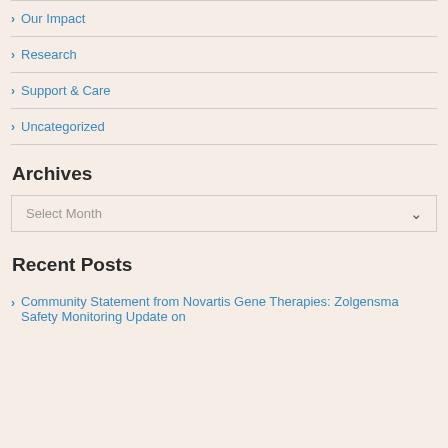Our Impact
Research
Support & Care
Uncategorized
Archives
Select Month
Recent Posts
Community Statement from Novartis Gene Therapies: Zolgensma Safety Monitoring Update on